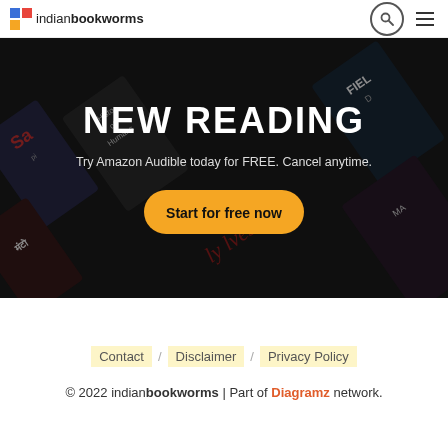indianbookworms
[Figure (screenshot): Hero banner with dark background showing book covers arranged diagonally, with text overlay: NEW READING, Try Amazon Audible today for FREE. Cancel anytime., and a yellow Start for free now button]
Contact / Disclaimer / Privacy Policy
© 2022 indianbookworms | Part of Diagramz network.